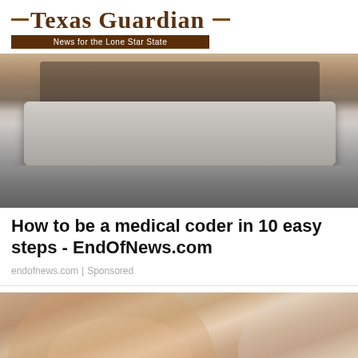Texas Guardian — News for the Lone Star State
[Figure (photo): Close-up photo of hands using a tablet or laptop computer on a desk with other items in the background]
How to be a medical coder in 10 easy steps - EndOfNews.com
endofnews.com | Sponsored
[Figure (photo): Close-up photo of a smiling woman's face, showing nose, cheeks and lips]